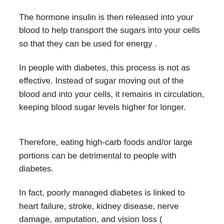The hormone insulin is then released into your blood to help transport the sugars into your cells so that they can be used for energy .
In people with diabetes, this process is not as effective. Instead of sugar moving out of the blood and into your cells, it remains in circulation, keeping blood sugar levels higher for longer.
Therefore, eating high-carb foods and/or large portions can be detrimental to people with diabetes.
In fact, poorly managed diabetes is linked to heart failure, stroke, kidney disease, nerve damage, amputation, and vision loss (